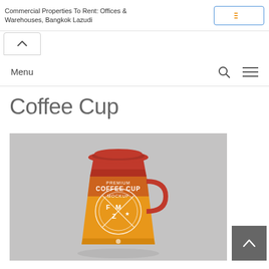Commercial Properties To Rent: Offices & Warehouses, Bangkok Lazudi
Menu
Coffee Cup
[Figure (photo): Premium Coffee Cup Mockup — a red and orange takeaway coffee cup with a red lid, featuring 'PREMIUM COFFEE CUP MOCKUP' text and a circular FMZ logo badge, on a grey background]
▲